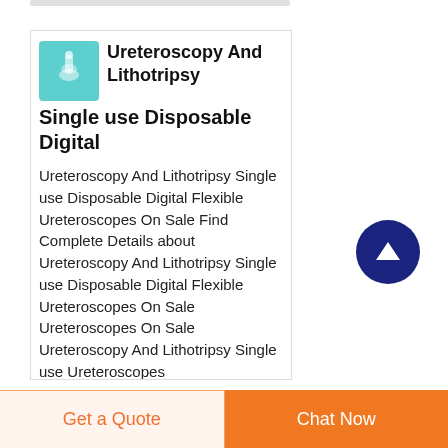[Figure (photo): Thumbnail image of a teal/turquoise colored flexible ureteroscope on a white background]
Ureteroscopy And Lithotripsy Single use Disposable Digital
Ureteroscopy And Lithotripsy Single use Disposable Digital Flexible Ureteroscopes On Sale Find Complete Details about Ureteroscopy And Lithotripsy Single use Disposable Digital Flexible Ureteroscopes On Sale Ureteroscopes On Sale Ureteroscopy And Lithotripsy Single use Ureteroscopes
[Figure (illustration): Dark navy blue circular scroll-to-top button with white upward arrow icon]
Get a Quote
Chat Now